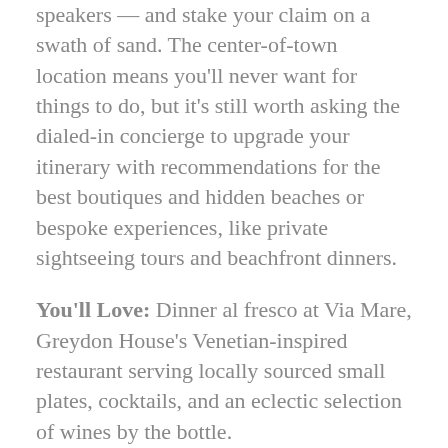speakers — and stake your claim on a swath of sand. The center-of-town location means you'll never want for things to do, but it's still worth asking the dialed-in concierge to upgrade your itinerary with recommendations for the best boutiques and hidden beaches or bespoke experiences, like private sightseeing tours and beachfront dinners.
You'll Love: Dinner al fresco at Via Mare, Greydon House's Venetian-inspired restaurant serving locally sourced small plates, cocktails, and an eclectic selection of wines by the bottle.
Rates: from $600/night